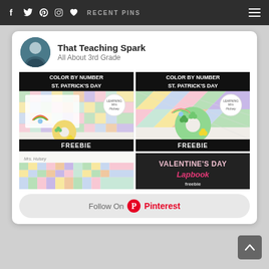RECENT PINS
[Figure (screenshot): Pinterest card for 'That Teaching Spark - All About 3rd Grade' showing Color By Number St. Patrick's Day and Valentine's Day Lapbook Freebie resources, with a Follow On Pinterest button]
That Teaching Spark
All About 3rd Grade
[Figure (illustration): Color By Number St. Patrick's Day worksheet with colorful grid and donut with clover - FREEBIE (left)]
[Figure (illustration): Color By Number St. Patrick's Day worksheet with colorful grid and donut with clover - FREEBIE (right)]
[Figure (illustration): Color by number worksheet bottom left]
[Figure (illustration): Valentine's Day Lapbook Freebie banner]
Follow On Pinterest